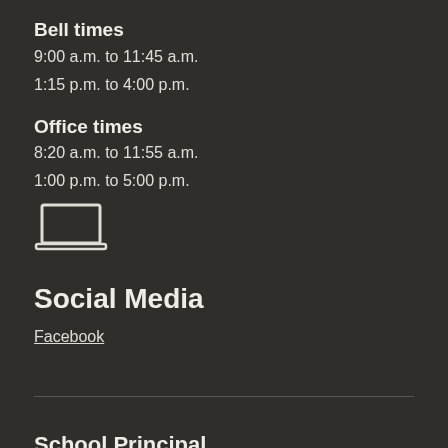Bell times
9:00 a.m. to 11:45 a.m.
1:15 p.m. to 4:00 p.m.
Office times
8:20 a.m. to 11:55 a.m.
1:00 p.m. to 5:00 p.m.
[Figure (illustration): Laptop computer icon]
Social Media
Facebook
School Principal